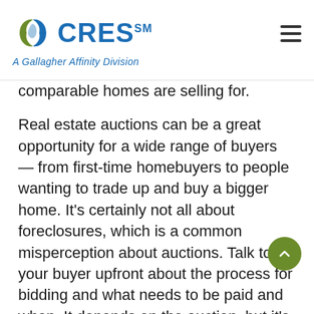CRES℠ — A Gallagher Affinity Division
comparable homes are selling for.
Real estate auctions can be a great opportunity for a wide range of buyers — from first-time homebuyers to people wanting to trade up and buy a bigger home. It's certainly not all about foreclosures, which is a common misperception about auctions.  Talk to your buyer upfront about the process for bidding and what needs to be paid and when.  It depends on the auction, but it's common a successful bidder will need to